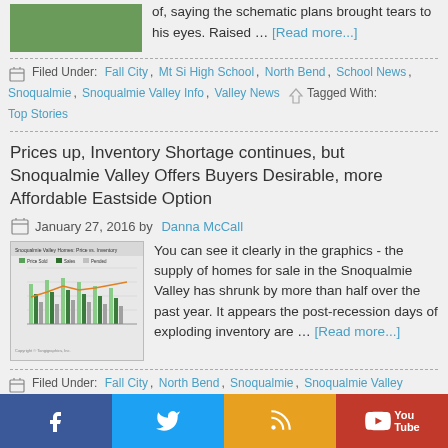of, saying the schematic plans brought tears to his eyes. Raised … [Read more...]
Filed Under: Fall City, Mt Si High School, North Bend, School News, Snoqualmie, Snoqualmie Valley Info, Valley News   Tagged With: Top Stories
Prices up, Inventory Shortage continues, but Snoqualmie Valley Offers Buyers Desirable, more Affordable Eastside Option
January 27, 2016 by Danna McCall
[Figure (bar-chart): Bar chart showing home sale price data vs. inventory for Snoqualmie Valley area, multiple series with green bars and an orange/red line.]
You can see it clearly in the graphics - the supply of homes for sale in the Snoqualmie Valley has shrunk by more than half over the past year. It appears the post-recession days of exploding inventory are … [Read more...]
Filed Under: Fall City, North Bend, Snoqualmie, Snoqualmie Valley
[Figure (infographic): Social media bar with Facebook, Twitter, RSS, and YouTube buttons]